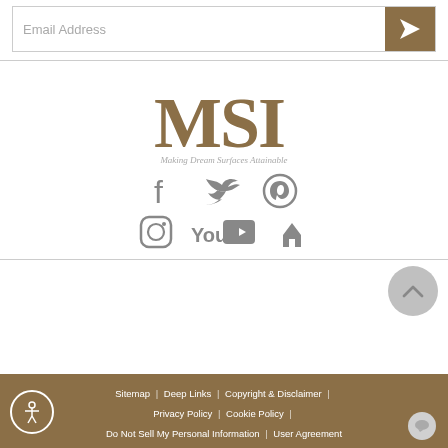Email Address
[Figure (logo): MSI logo with tagline: Making Dream Surfaces Attainable]
[Figure (infographic): Social media icons: Facebook, Twitter, Pinterest, Instagram, YouTube, Houzz]
Sitemap | Deep Links | Copyright & Disclaimer | Privacy Policy | Cookie Policy | Do Not Sell My Personal Information | User Agreement